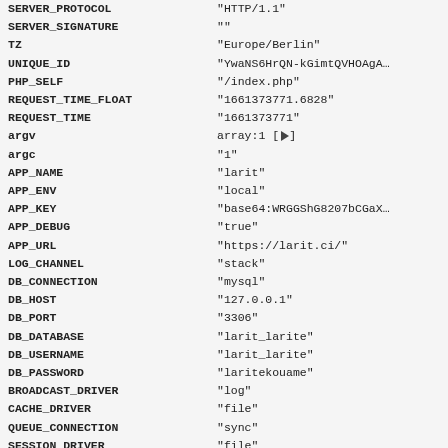| Key | Value |
| --- | --- |
| SERVER_PROTOCOL | "HTTP/1.1" |
| SERVER_SIGNATURE | "" |
| TZ | "Europe/Berlin" |
| UNIQUE_ID | "YwaNS6HrQN-kGimtQVHOAgA… |
| PHP_SELF | "/index.php" |
| REQUEST_TIME_FLOAT | "1661373771.6828" |
| REQUEST_TIME | "1661373771" |
| argv | array:1 [▶] |
| argc | "1" |
| APP_NAME | "larit" |
| APP_ENV | "local" |
| APP_KEY | "base64:WRGGShG8207bCGaX… |
| APP_DEBUG | "true" |
| APP_URL | "https://larit.ci/" |
| LOG_CHANNEL | "stack" |
| DB_CONNECTION | "mysql" |
| DB_HOST | "127.0.0.1" |
| DB_PORT | "3306" |
| DB_DATABASE | "larit_larite" |
| DB_USERNAME | "larit_larite" |
| DB_PASSWORD | "laritekouame" |
| BROADCAST_DRIVER | "log" |
| CACHE_DRIVER | "file" |
| QUEUE_CONNECTION | "sync" |
| SESSION_DRIVER | "file" |
| SESSION_LIFETIME | "120" |
| REDIS_HOST | "127.0.0.1" |
| REDIS_PASSWORD | "null" |
| REDIS_PORT | "6379" |
| MAIL_DRIVER | "smtp" |